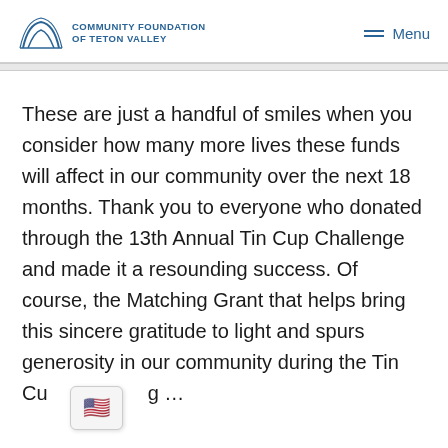COMMUNITY FOUNDATION OF TETON VALLEY  Menu
These are just a handful of smiles when you consider how many more lives these funds will affect in our community over the next 18 months. Thank you to everyone who donated through the 13th Annual Tin Cup Challenge and made it a resounding success. Of course, the Matching Grant that helps bring this sincere gratitude to light and spurs generosity in our community during the Tin Cu…g …